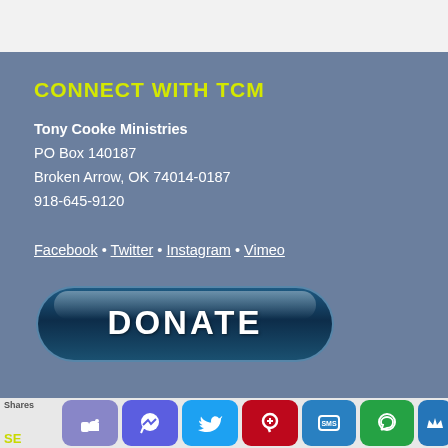CONNECT WITH TCM
Tony Cooke Ministries
PO Box 140187
Broken Arrow, OK 74014-0187
918-645-9120
Facebook • Twitter • Instagram • Vimeo
[Figure (other): Dark blue glossy DONATE button with rounded pill shape]
[Figure (infographic): Social sharing bar with icons: thumbs up (Facebook), Messenger, Twitter, Pinterest, SMS, WhatsApp, crown]